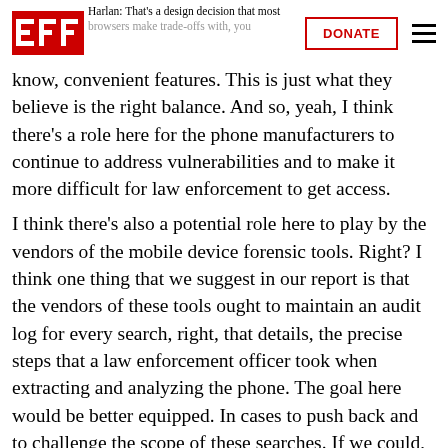EFF | DONATE
Harlan: That's a design decision that most browsers make trade-offs with, you know, convenient features. This is just what they believe is the right balance. And so, yeah, I think there's a role here for the phone manufacturers to continue to address vulnerabilities and to make it more difficult for law enforcement to get access.
I think there's also a potential role here to play by the vendors of the mobile device forensic tools. Right? I think one thing that we suggest in our report is that the vendors of these tools ought to maintain an audit log for every search, right, that details, the precise steps that a law enforcement officer took when extracting and analyzing the phone. The goal here would be better equipped. In cases to push back and to challenge the scope of these searches. If we could, for instance, played